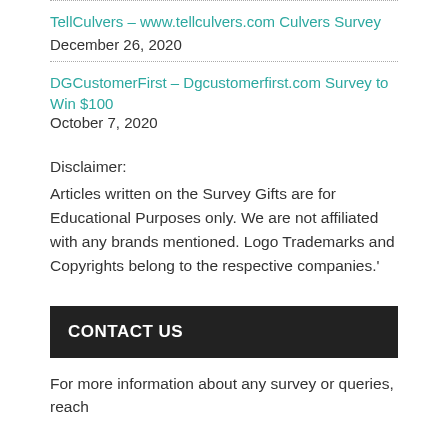TellCulvers – www.tellculvers.com Culvers Survey  December 26, 2020
DGCustomerFirst – Dgcustomerfirst.com Survey to Win $100  October 7, 2020
Disclaimer:
Articles written on the Survey Gifts are for Educational Purposes only. We are not affiliated with any brands mentioned. Logo Trademarks and Copyrights belong to the respective companies.'
CONTACT US
For more information about any survey or queries, reach